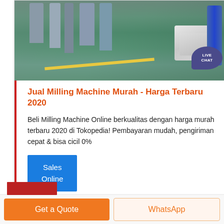[Figure (photo): Factory interior with industrial milling machines, silos, green epoxy floor with yellow line, and stacked white bags. Live Chat speech bubble overlay in top-right corner.]
Jual Milling Machine Murah - Harga Terbaru 2020
Beli Milling Machine Online berkualitas dengan harga murah terbaru 2020 di Tokopedia! Pembayaran mudah, pengiriman cepat & bisa cicil 0%
Sales Online
[Figure (photo): Partial preview of next product card at bottom of page (red accent strip visible)]
Get a Quote
WhatsApp